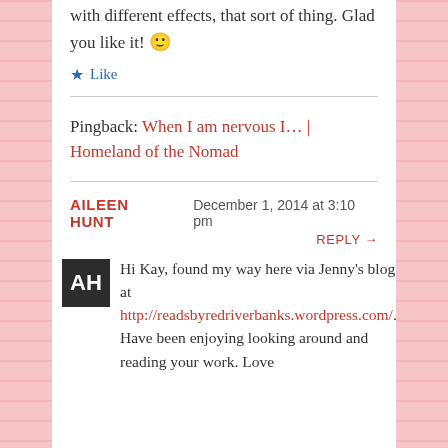with different effects, that sort of thing. Glad you like it! 🙂
★ Like
Pingback: When I am nervous I… | Homeland of the Nomad
AILEEN HUNT   December 1, 2014 at 3:10 pm
REPLY →
Hi Kay, found my way here via Jenny's blog at http://readsbyredriverbanks.wordpress.com/. Have been enjoying looking around and reading your work. Love